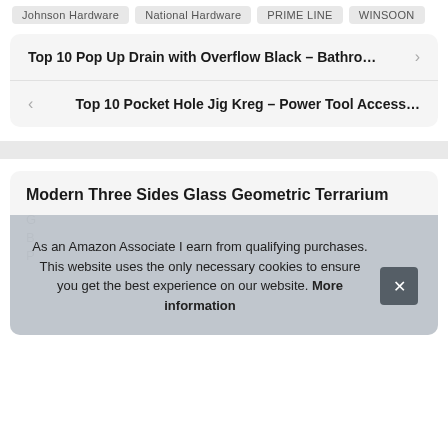Johnson Hardware  National Hardware  PRIME LINE  WINSOON
Top 10 Pop Up Drain with Overflow Black – Bathro…
Top 10 Pocket Hole Jig Kreg – Power Tool Access…
Modern Three Sides Glass Geometric Terrarium G... B... P...
As an Amazon Associate I earn from qualifying purchases. This website uses the only necessary cookies to ensure you get the best experience on our website. More information